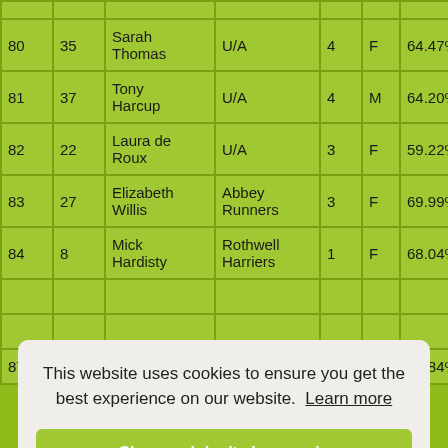| # | Bib | Name | Club | Laps | Gender | Score | Time |
| --- | --- | --- | --- | --- | --- | --- | --- |
| 80 | 35 | Sarah Thomas | U/A | 4 | F | 64.47% | 07:05 |
| 81 | 37 | Tony Harcup | U/A | 4 | M | 64.20% | 07:07 |
| 82 | 22 | Laura de Roux | U/A | 3 | F | 59.22% | 07:14 |
| 83 | 27 | Elizabeth Willis | Abbey Runners | 3 | F | 69.99% | 07:18 |
| 84 | 8 | Mick Hardisty | Rothwell Harriers | 1 | F | 68.04% | 07:19 |
| 85 |  |  |  |  |  |  | 07:38 |
| 86 |  |  |  |  |  |  | 07:54 |
| 87 | 5 | Vicki Miller | U/A | 1 | F | 47.84% | 08:04 |
This website uses cookies to ensure you get the best experience on our website. Learn more
Close and don't show again